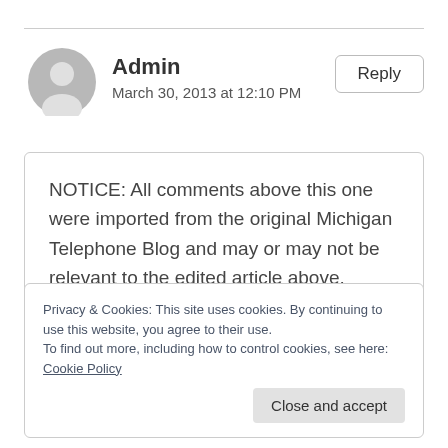[Figure (illustration): Gray circular avatar placeholder with a person silhouette icon]
Admin
March 30, 2013 at 12:10 PM
Reply
NOTICE: All comments above this one were imported from the original Michigan Telephone Blog and may or may not be relevant to the edited article above.
Privacy & Cookies: This site uses cookies. By continuing to use this website, you agree to their use.
To find out more, including how to control cookies, see here: Cookie Policy
Close and accept